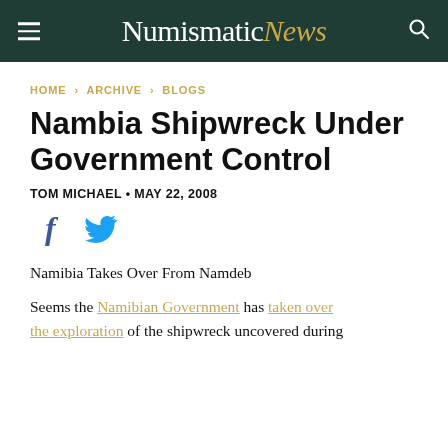NumismaticNews
HOME › ARCHIVE › BLOGS
Nambia Shipwreck Under Government Control
TOM MICHAEL • MAY 22, 2008
[Figure (infographic): Facebook and Twitter share icons]
Namibia Takes Over From Namdeb
Seems the Namibian Government has taken over the exploration of the shipwreck uncovered during